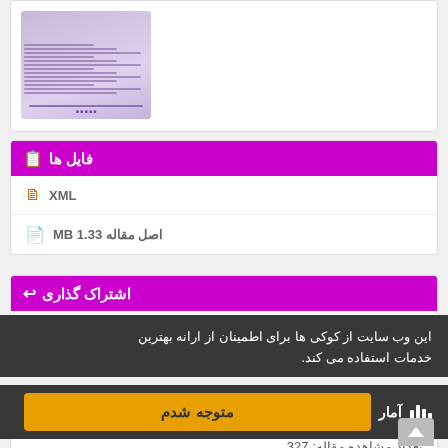[Figure (illustration): Document thumbnail preview showing a Persian academic article with purple/lavender design]
فایل ها
XML
اصل مقاله 1.33 MB
اشتراک گذاری
این وب سایت از کوکی ها برای اطمینان از ارانه بهترین خدمات استفاده می کند.
متوجه شدم
تعداد مشاهده مقاله: 327